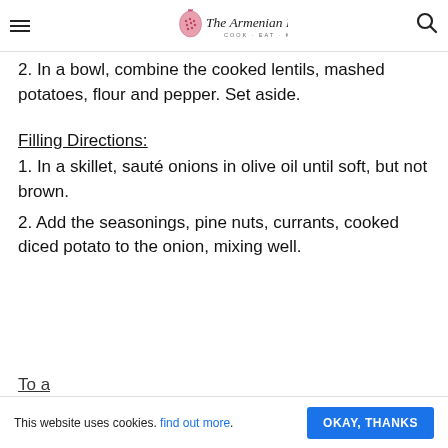The Armenian Kitchen — COOK · EAT · KEFI
2. In a bowl, combine the cooked lentils, mashed potatoes, flour and pepper. Set aside.
Filling Directions:
1. In a skillet, sauté onions in olive oil until soft, but not brown.
2. Add the seasonings, pine nuts, currants, cooked diced potato to the onion, mixing well.
This website uses cookies. find out more. OKAY, THANKS